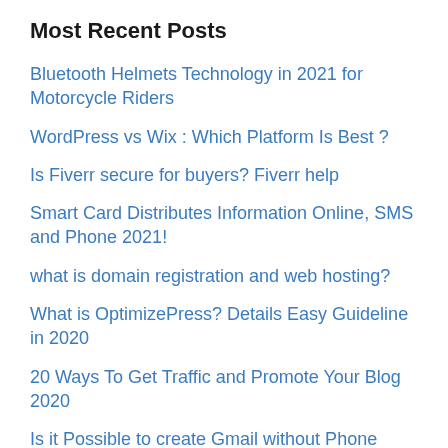Most Recent Posts
Bluetooth Helmets Technology in 2021 for Motorcycle Riders
WordPress vs Wix : Which Platform Is Best ?
Is Fiverr secure for buyers? Fiverr help
Smart Card Distributes Information Online, SMS and Phone 2021!
what is domain registration and web hosting?
What is OptimizePress? Details Easy Guideline in 2020
20 Ways To Get Traffic and Promote Your Blog 2020
Is it Possible to create Gmail without Phone